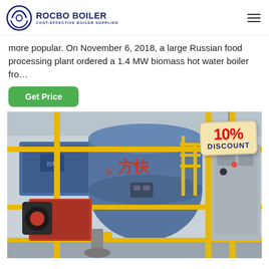ROCBO BOILER — COST-EFFECTIVE BOILER SUPPLIER
more popular. On November 6, 2018, a large Russian food processing plant ordered a 1.4 MW biomass hot water boiler fro…
Get Price
[Figure (photo): Industrial boiler room showing a large blue cylindrical boiler with Chinese characters (方快) on the front, red burner unit attached, yellow pipes and railings, gray control cabinet on the right, with a 10% DISCOUNT badge overlay in the upper right.]